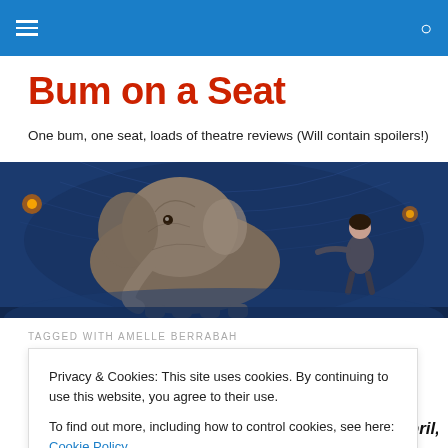Bum on a Seat — site header navigation bar
Bum on a Seat
One bum, one seat, loads of theatre reviews (Will contain spoilers!)
[Figure (photo): Theatre production photo showing a large elephant puppet on stage with a performer in a dark blue atmospheric set]
TAGGED WITH AMELLE BERRABAH
Privacy & Cookies: This site uses cookies. By continuing to use this website, you agree to their use.
To find out more, including how to control cookies, see here: Cookie Policy
Close and accept
Grand Theatre, Wolverhampton, Monday 29th April,